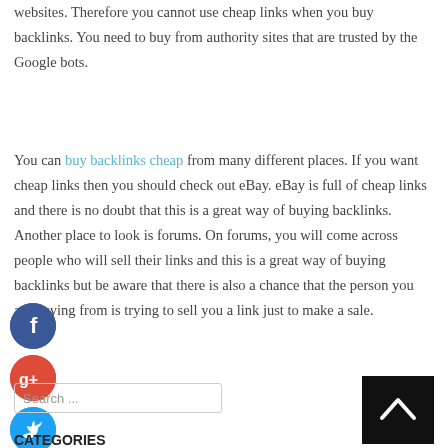websites. Therefore you cannot use cheap links when you buy backlinks. You need to buy from authority sites that are trusted by the Google bots.
You can buy backlinks cheap from many different places. If you want cheap links then you should check out eBay. eBay is full of cheap links and there is no doubt that this is a great way of buying backlinks. Another place to look is forums. On forums, you will come across people who will sell their links and this is a great way of buying backlinks but be aware that there is also a chance that the person you are buying from is trying to sell you a link just to make a sale.
CATEGORIES